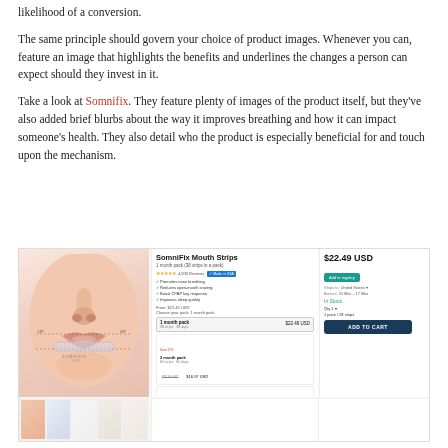likelihood of a conversion.
The same principle should govern your choice of product images. Whenever you can, feature an image that highlights the benefits and underlines the changes a person can expect should they invest in it.
Take a look at Somnifix. They feature plenty of images of the product itself, but they've also added brief blurbs about the way it improves breathing and how it can impact someone's health. They also detail who the product is especially beneficial for and touch upon the mechanism.
[Figure (screenshot): Screenshot of the Somnifix product page showing mouth strips product listing with title 'SomniFix Mouth Strips', price $22.49 USD, star ratings with 4000 Reviews, product options (1 month pack 38 strips/38 days $22.49 USD, 2 month pack 84 strips/84 days $16.97 USD, 12 month pack), Made in USA badge, In Stock notice, Add to Cart button, and a face/mouth photo on the left with thumbnail images below.]